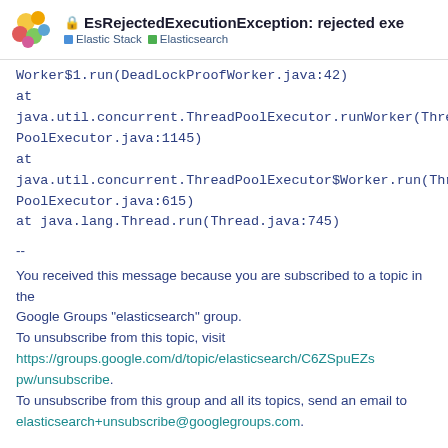EsRejectedExecutionException: rejected exec... | Elastic Stack | Elasticsearch
Worker$1.run(DeadLockProofWorker.java:42)
at
java.util.concurrent.ThreadPoolExecutor.runWorker(ThreadPoolExecutor.java:1145)
at
java.util.concurrent.ThreadPoolExecutor$Worker.run(ThreadPoolExecutor.java:615)
at java.lang.Thread.run(Thread.java:745)
--
You received this message because you are subscribed to a topic in the
Google Groups "elasticsearch" group.
To unsubscribe from this topic, visit
https://groups.google.com/d/topic/elasticsearch/C6ZSpuEZspw/unsubscribe.
To unsubscribe from this group and all its topics, send an email to
elasticsearch+unsubscribe@googlegroups.com.